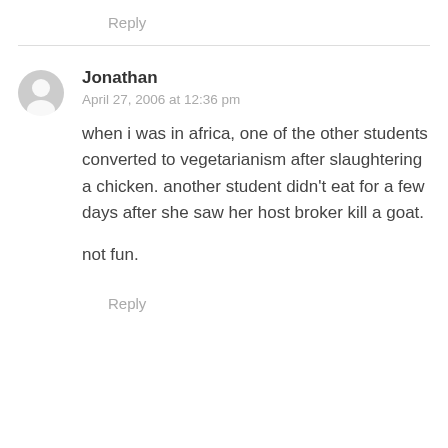Reply
Jonathan
April 27, 2006 at 12:36 pm

when i was in africa, one of the other students converted to vegetarianism after slaughtering a chicken. another student didn't eat for a few days after she saw her host broker kill a goat.

not fun.
Reply